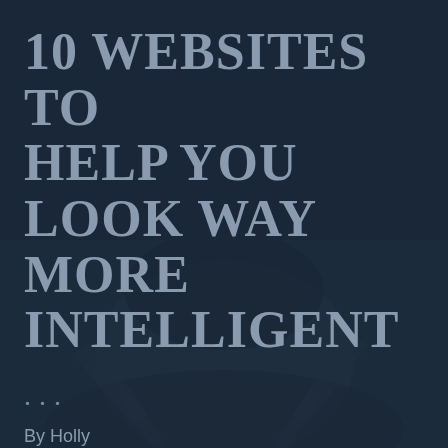10 WEBSITES TO HELP YOU LOOK WAY MORE INTELLIGENT
...
By Holly
[Figure (photo): Dark moody portrait of a person, dimly lit with dark blue-grey overlay tones, face partially visible in lower half of image]